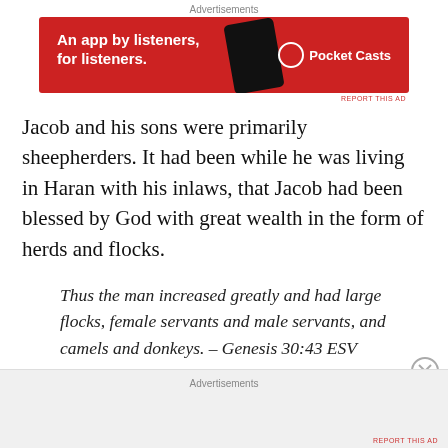[Figure (other): Pocket Casts advertisement banner: red background with text 'An app by listeners, for listeners.' and Pocket Casts logo with phone graphic]
Jacob and his sons were primarily sheepherders. It had been while he was living in Haran with his inlaws, that Jacob had been blessed by God with great wealth in the form of herds and flocks.
Thus the man increased greatly and had large flocks, female servants and male servants, and camels and donkeys. – Genesis 30:43 ESV
Advertisements